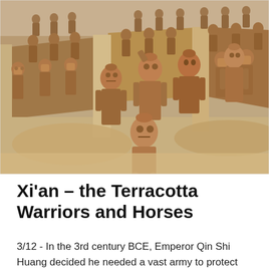[Figure (photo): Photograph of the Terracotta Warriors — rows of life-size clay soldier statues standing in excavated earthen pits, viewed from above at an angle. The statues are reddish-brown terracotta, arranged in formation between earthen partition walls.]
Xi'an – the Terracotta Warriors and Horses
3/12 - In the 3rd century BCE, Emperor Qin Shi Huang decided he needed a vast army to protect him in the afterlife. He enlisted thousands of brave potters...